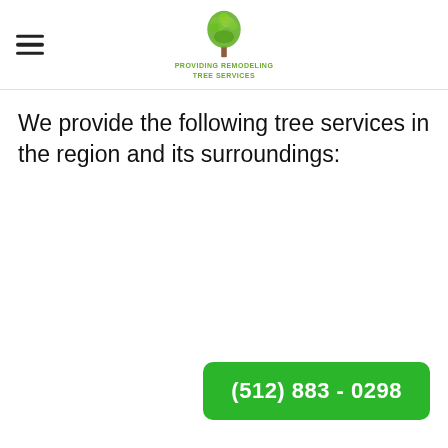PROVIDING REMODELING TREE SERVICES
We provide the following tree services in the region and its surroundings:
(512) 883 - 0298